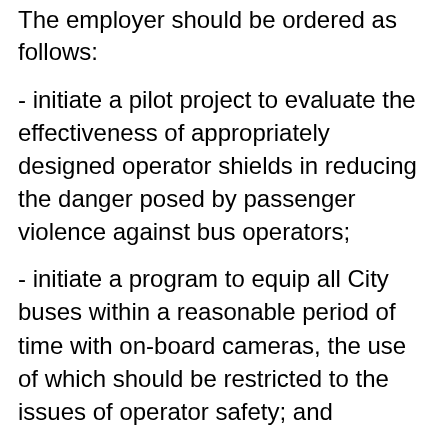The employer should be ordered as follows:
- initiate a pilot project to evaluate the effectiveness of appropriately designed operator shields in reducing the danger posed by passenger violence against bus operators;
- initiate a program to equip all City buses within a reasonable period of time with on-board cameras, the use of which should be restricted to the issues of operator safety; and
- increase the number of special constables so as to provide a higher level of security for